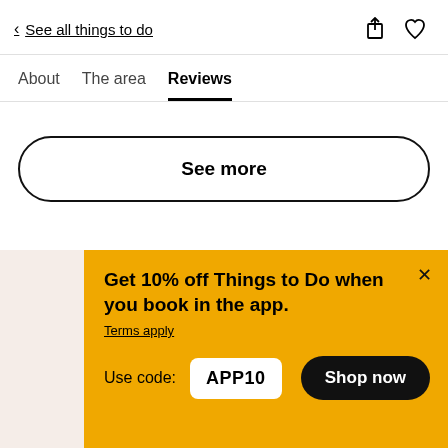< See all things to do
About  The area  Reviews
See more
Get 10% off Things to Do when you book in the app.
Terms apply
Use code: APP10
Shop now